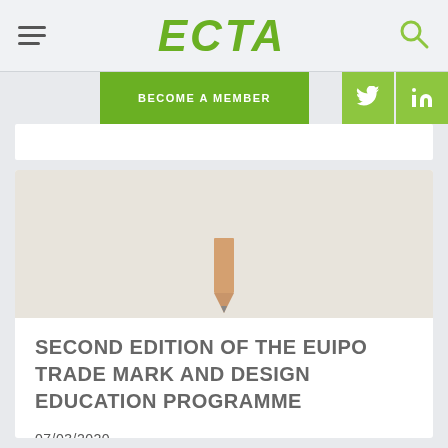ECTA
BECOME A MEMBER
[Figure (photo): Article hero image showing a pencil tip against a light beige/grey background]
SECOND EDITION OF THE EUIPO TRADE MARK AND DESIGN EDUCATION PROGRAMME
07/03/2020